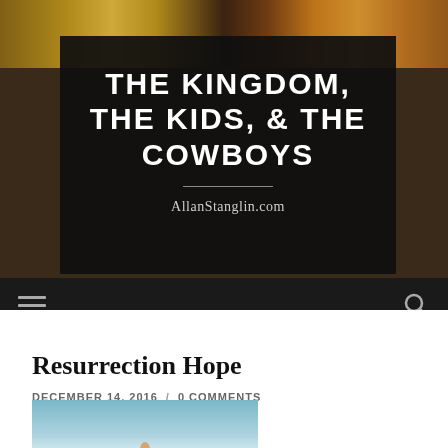[Figure (screenshot): Website header banner with dark overlay containing the blog title 'THE KINGDOM, THE KIDS, & THE COWBOYS' and subtitle 'AllanStanglin.com' on a dark background, with mosaic/religious artwork strip at top]
Resurrection Hope
DECEMBER 14, 2016 / 0 COMMENTS
[Figure (photo): Photo showing a hand raised upward against a blue sky with clouds, representing resurrection hope]